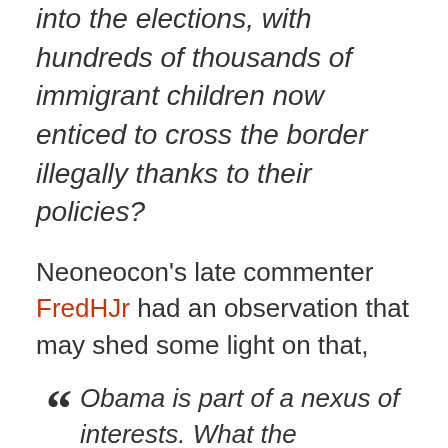into the elections, with hundreds of thousands of immigrant children now enticed to cross the border illegally thanks to their policies?
Neoneocon's late commenter FredHJr had an observation that may shed some light on that,
“Obama is part of a nexus of interests. What the American dopes who will put him in office are getting is a NETWORK of alliances and interests, running the gamut from Finance (Soros) to academia to media